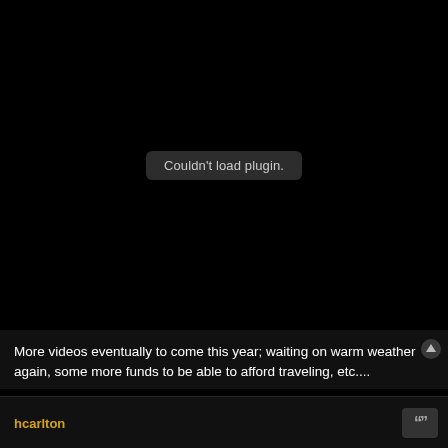[Figure (screenshot): Black video player area showing 'Couldn't load plugin.' error message in a dark rounded rectangle in the center]
More videos eventually to come this year; waiting on warm weather again, some more funds to be able to afford traveling, etc....
hcarlton